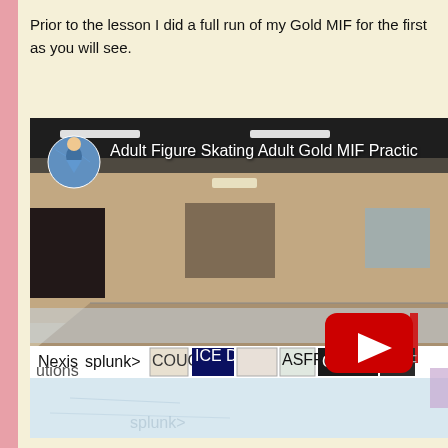Prior to the lesson I did a full run of my Gold MIF for the first as you will see.
[Figure (screenshot): YouTube video thumbnail showing an ice rink interior with the title 'Adult Figure Skating Adult Gold MIF Practice' and a YouTube play button overlay. Sponsor banners including Nexis, splunk>, and ICE DEN are visible along the rink boards.]